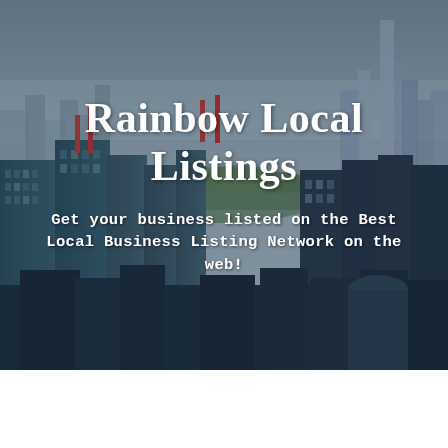[Figure (photo): Aerial view of a city skyline (New York City) with tall skyscrapers, a park visible in the middle distance, and a desaturated/muted color treatment with dark blue-grey overlay tones.]
Rainbow Local Listings
Get your business listed on the Best Local Business Listing Network on the web!